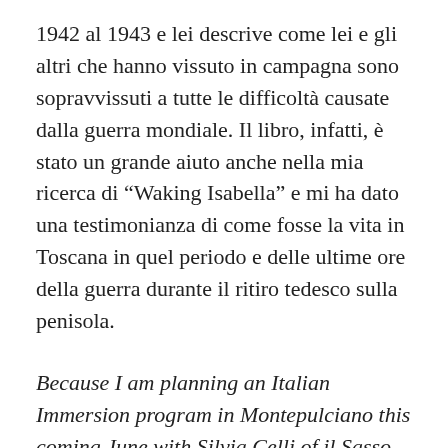1942 al 1943 e lei descrive come lei e gli altri che hanno vissuto in campagna sono sopravvissuti a tutte le difficoltà causate dalla guerra mondiale. Il libro, infatti, è stato un grande aiuto anche nella mia ricerca di “Waking Isabella” e mi ha dato una testimonianza di come fosse la vita in Toscana in quel periodo e delle ultime ore della guerra durante il ritiro tedesco sulla penisola.
Because I am planning an Italian Immersion program in Montepulciano this coming June with Silvia Celli of il Sasso language school and we will be visiting Iris Origo’s Villa and the famous gardens she created there I wanted to read Origo’s book “War in